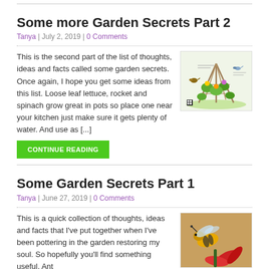Some more Garden Secrets Part 2
Tanya | July 2, 2019 | 0 Comments
This is the second part of the list of thoughts, ideas and facts called some garden secrets. Once again, I hope you get some ideas from this list. Loose leaf lettuce, rocket and spinach grow great in pots so place one near your kitchen just make sure it gets plenty of water. And use as [...]
[Figure (illustration): Garden illustration showing a teepee trellis with plants and birds]
CONTINUE READING
Some Garden Secrets Part 1
Tanya | June 27, 2019 | 0 Comments
This is a quick collection of thoughts, ideas and facts that I've put together when I've been pottering in the garden restoring my soul. So hopefully you'll find something useful. Ant
[Figure (photo): Close-up photo of a bee on a red flower]